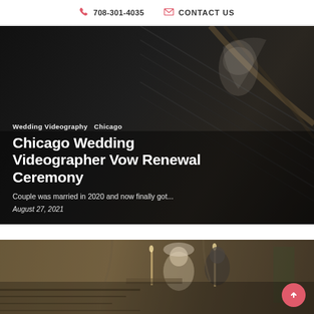708-301-4035   CONTACT US
[Figure (photo): Wedding ceremony photo showing a bride in white dress on stairs, dark staircase background with dramatic lighting. Overlaid with white text showing article title and excerpt.]
Wedding Videography  Chicago
Chicago Wedding Videographer Vow Renewal Ceremony
Couple was married in 2020 and now finally got...
August 27, 2021
[Figure (photo): Wedding ceremony photo showing a couple (bride and groom) at the altar of a church, with candles and stone architecture in the background.]